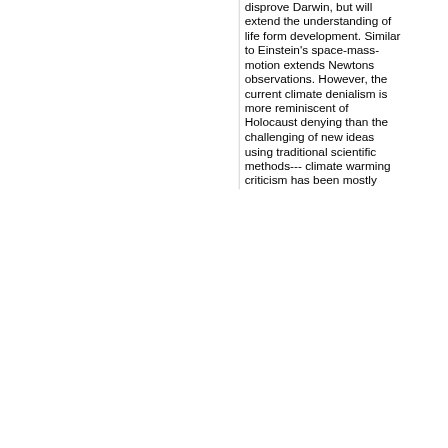disprove Darwin, but will extend the understanding of life form development. Similar to Einstein's space-mass-motion extends Newtons observations. However, the current climate denialism is more reminiscent of Holocaust denying than the challenging of new ideas using traditional scientific methods--- climate warming criticism has been mostly pseudoscience propaganda that uses confusion, misassociation, misdirection, distraction by focus on irrelevant issues and character assassination to make "scientific arguments". The challenge is, if climate change is not